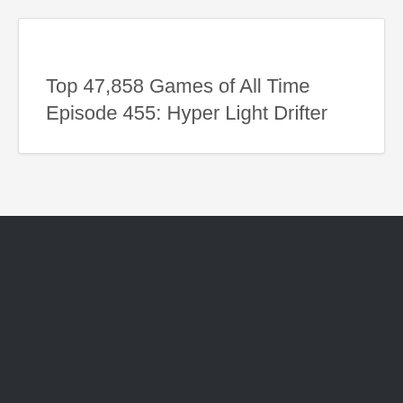Top 47,858 Games of All Time Episode 455: Hyper Light Drifter
RECENT POSTS
Relics: The Recur of Origin
Relics: Ankoku Yousai
R...
[Figure (screenshot): Sustainable Steam video player overlay with play button and cyan progress bar]